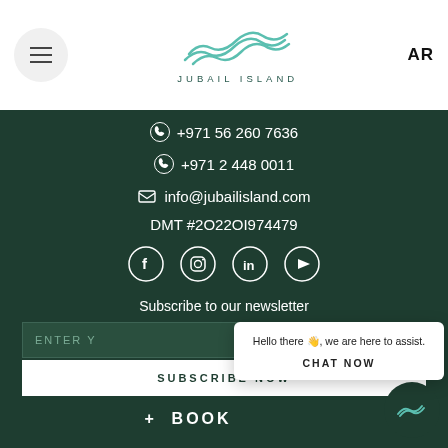[Figure (logo): Jubail Island logo with wave motif and text JUBAIL ISLAND]
AR
+971 56 260 7636
+971 2 448 0011
info@jubailisland.com
DMT #2O22OI974479
[Figure (other): Social media icons row: Facebook, Instagram, LinkedIn, YouTube]
Subscribe to our newsletter
ENTER Y...
SUBSCRIBE NOW
Hello there 👋, we are here to assist.
CHAT NOW
+ BOOK